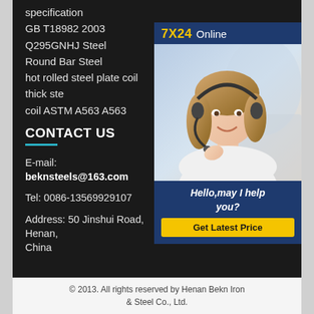specification
GB T18982 2003 Q295GNHJ Steel
Round Bar Steel
hot rolled steel plate coil thick ste coil ASTM A563 A563
CONTACT US
E-mail: beknsteels@163.com
Tel: 0086-13569929107
Address: 50 Jinshui Road, Henan, China
[Figure (photo): Customer service representative with headset smiling, with 7X24 Online banner and Hello,may I help you? text and Get Latest Price button]
© 2013. All rights reserved by Henan Bekn Iron & Steel Co., Ltd.